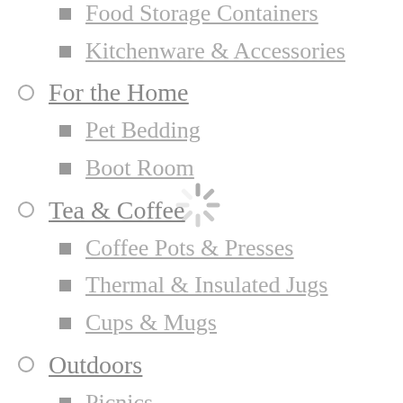Food Storage Containers
Kitchenware & Accessories
For the Home
Pet Bedding
Boot Room
Tea & Coffee
Coffee Pots & Presses
Thermal & Insulated Jugs
Cups & Mugs
Outdoors
Picnics
For the Gardener
Kids Bags & Rucksacks
Those Little Essentials
Gifts